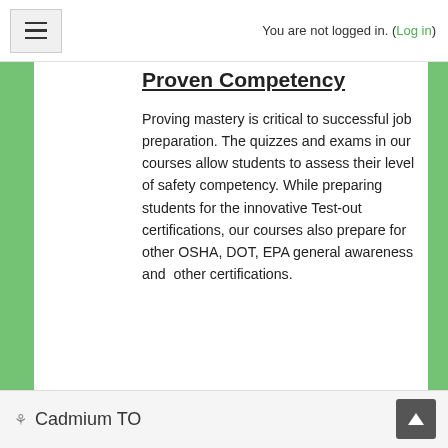You are not logged in. (Log in)
Proven Competency
Proving mastery is critical to successful job preparation. The quizzes and exams in our courses allow students to assess their level of safety competency. While preparing students for the innovative Test-out certifications, our courses also prepare for other OSHA, DOT, EPA general awareness and other certifications.
Cadmium TO